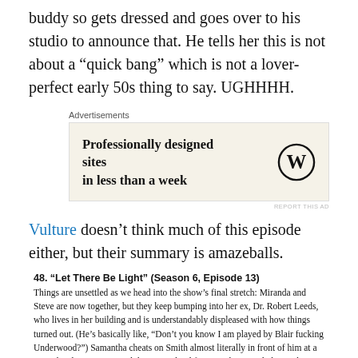buddy so gets dressed and goes over to his studio to announce that. He tells her this is not about a “quick bang” which is not a lover-perfect early 50s thing to say. UGHHHH.
[Figure (other): Advertisement box with WordPress logo. Text reads: Professionally designed sites in less than a week]
Vulture doesn’t think much of this episode either, but their summary is amazeballs.
48. “Let There Be Light” (Season 6, Episode 13) Things are unsettled as we head into the show’s final stretch: Miranda and Steve are now together, but they keep bumping into her ex, Dr. Robert Leeds, who lives in her building and is understandably displeased with how things turned out. (He’s basically like, “Don’t you know I am played by Blair fucking Underwood?”) Samantha cheats on Smith almost literally in front of him at a party, heading upstairs with her ex Richard for a quickie. Smith, being the most perfect boyfriend in Sex and the City history, forgives her and they forge ahead with their relationship.